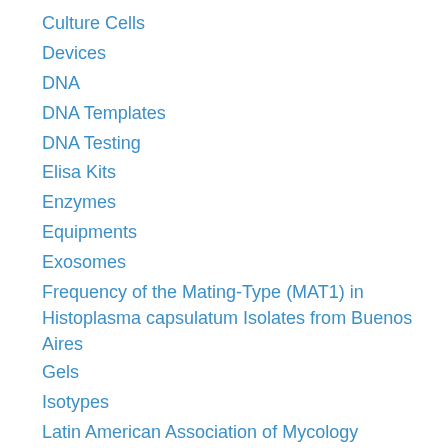Culture Cells
Devices
DNA
DNA Templates
DNA Testing
Elisa Kits
Enzymes
Equipments
Exosomes
Frequency of the Mating-Type (MAT1) in Histoplasma capsulatum Isolates from Buenos Aires
Gels
Isotypes
Latin American Association of Mycology